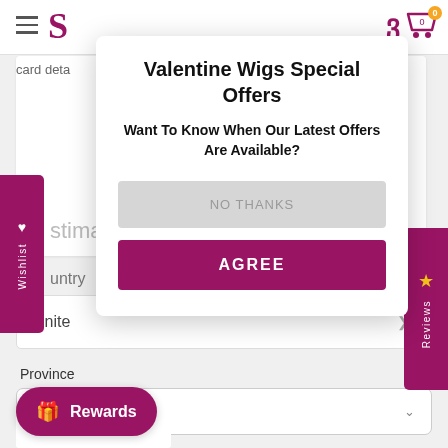[Figure (screenshot): Website navigation bar with hamburger menu, logo, and cart icon showing 0 items]
[Figure (screenshot): Wishlist sidebar tab on left edge in magenta/purple color]
[Figure (screenshot): Reviews sidebar tab on right edge in magenta/purple color with star rating]
Valentine Wigs Special Offers
Want To Know When Our Latest Offers Are Available?
NO THANKS
AGREE
Province
British Forces
Rewards